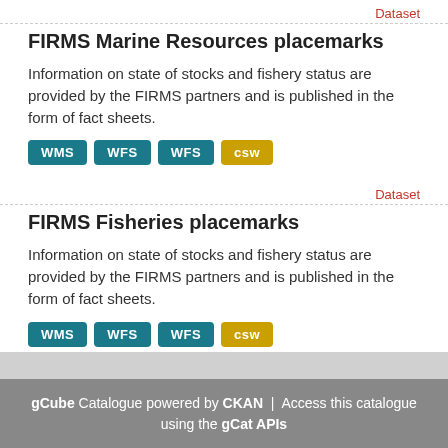Dataset
FIRMS Marine Resources placemarks
Information on state of stocks and fishery status are provided by the FIRMS partners and is published in the form of fact sheets.
WMS WFS WFS csw
Dataset
FIRMS Fisheries placemarks
Information on state of stocks and fishery status are provided by the FIRMS partners and is published in the form of fact sheets.
WMS WFS WFS csw
gCube Catalogue powered by CKAN | Access this catalogue using the gCat APIs